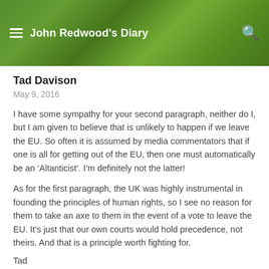John Redwood's Diary
Tad Davison
May 9, 2016
I have some sympathy for your second paragraph, neither do I, but I am given to believe that is unlikely to happen if we leave the EU. So often it is assumed by media commentators that if one is all for getting out of the EU, then one must automatically be an ‘Altanticist’. I’m definitely not the latter!
As for the first paragraph, the UK was highly instrumental in founding the principles of human rights, so I see no reason for them to take an axe to them in the event of a vote to leave the EU. It’s just that our own courts would hold precedence, not theirs. And that is a principle worth fighting for.
Tad